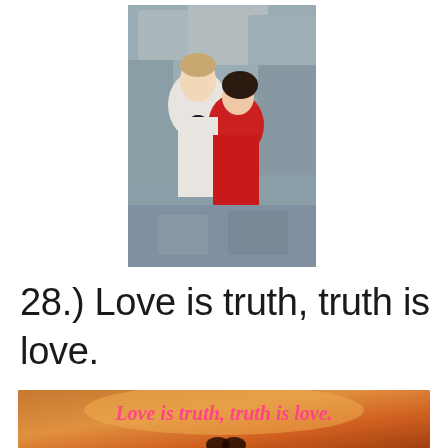[Figure (photo): A romantic couple photo: a young man in a white shirt and bow tie leaning close to a young woman in a red dress with a red headband, set against rocky background outdoors.]
28.) Love is truth, truth is love.
[Figure (photo): A decorative image with warm orange/brown gradient background showing the cursive pink text: 'Love is truth, truth is love.' with a silhouetted couple below.]